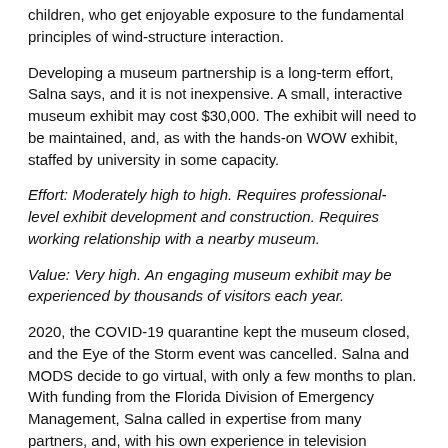children, who get enjoyable exposure to the fundamental principles of wind-structure interaction.
Developing a museum partnership is a long-term effort, Salna says, and it is not inexpensive. A small, interactive museum exhibit may cost $30,000. The exhibit will need to be maintained, and, as with the hands-on WOW exhibit, staffed by university in some capacity.
Effort: Moderately high to high. Requires professional- level exhibit development and construction. Requires working relationship with a nearby museum.
Value: Very high. An engaging museum exhibit may be experienced by thousands of visitors each year.
2020, the COVID-19 quarantine kept the museum closed, and the Eye of the Storm event was cancelled. Salna and MODS decide to go virtual, with only a few months to plan. With funding from the Florida Division of Emergency Management, Salna called in expertise from many partners, and, with his own experience in television production, he managed the creation of a 12-part video series on hurricane science, mitigation and preparedness, which included a video about the Wall of Wind. The video series is called, appropriately, the Eye of the Storm, and it was strategically released at the beginning of the 2020 hurricane season.